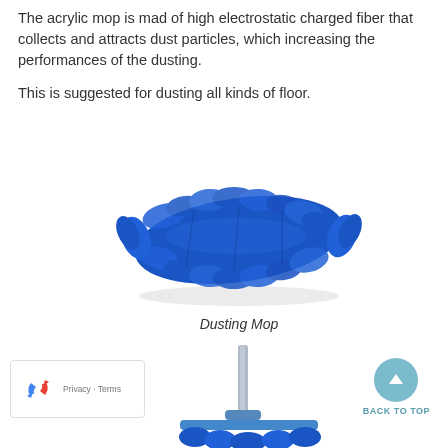The acrylic mop is mad of high electrostatic charged fiber that collects and attracts dust particles, which increasing the performances of the dusting.

This is suggested for dusting all kinds of floor.
[Figure (photo): Blue acrylic dusting mop head, oval/rectangular shape with fluffy blue fibers, viewed from a slight angle against white background]
Dusting Mop
[Figure (photo): Bottom portion of a dusting mop with handle (gray pole) attached to a blue rectangular flat mop head frame, partially visible]
[Figure (logo): reCAPTCHA logo badge with Privacy and Terms text]
BACK TO TOP